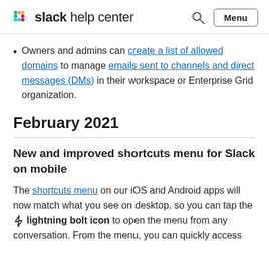slack help center
Owners and admins can create a list of allowed domains to manage emails sent to channels and direct messages (DMs) in their workspace or Enterprise Grid organization.
February 2021
New and improved shortcuts menu for Slack on mobile
The shortcuts menu on our iOS and Android apps will now match what you see on desktop, so you can tap the ⚡ lightning bolt icon to open the menu from any conversation. From the menu, you can quickly access